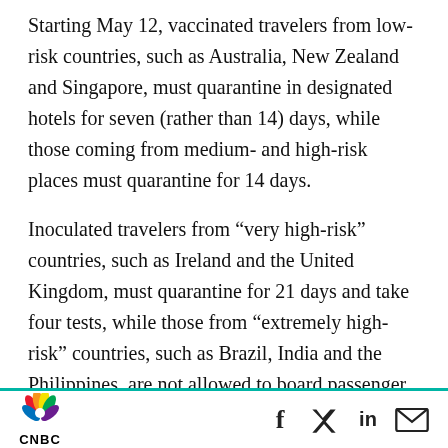Starting May 12, vaccinated travelers from low-risk countries, such as Australia, New Zealand and Singapore, must quarantine in designated hotels for seven (rather than 14) days, while those coming from medium- and high-risk places must quarantine for 14 days.
Inoculated travelers from “very high-risk” countries, such as Ireland and the United Kingdom, must quarantine for 21 days and take four tests, while those from “extremely high-risk” countries, such as Brazil, India and the Philippines, are not allowed to board passenger flights into Hong Kong, according to a
CNBC [logo] | f [Facebook] | Twitter | in [LinkedIn] | [email icon]